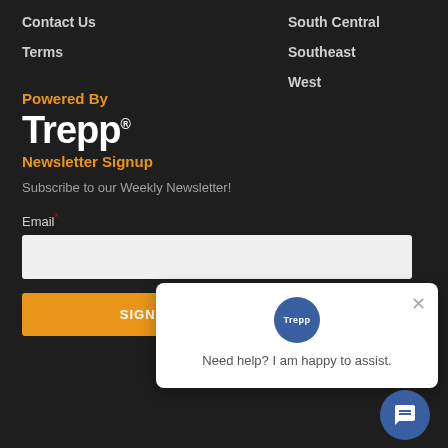Contact Us
Terms
South Central
Southeast
West
Powered By
Trepp®
Newsletter Signup
Subscribe to our Weekly Newsletter!
Email*
[Figure (screenshot): Trepp chat widget popup with avatar circle labeled Trepp, close button X, text 'Need help? I am happy to assist.', and blue circular chat button at bottom right]